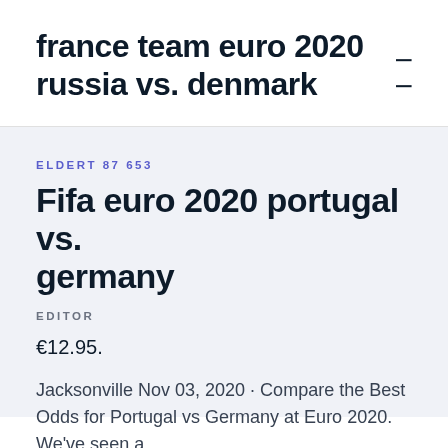france team euro 2020 russia vs. denmark
ELDERT87653
Fifa euro 2020 portugal vs. germany
EDITOR
€12.95.
Jacksonville Nov 03, 2020 · Compare the Best Odds for Portugal vs Germany at Euro 2020. We've seen a